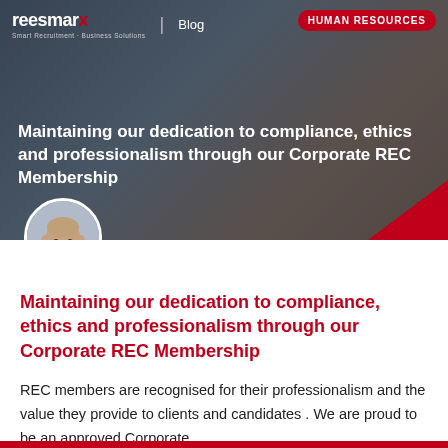[Figure (photo): Hero banner image of a blog post on the reesmarx website. Shows a dark-toned background with a person at a desk with hands clasped. Contains the reesmarx logo, Blog label, HUMAN RESOURCES badge, and hero title text overlay. A circular author photo of a bald man in a blue shirt appears at the bottom of the image.]
Maintaining our dedication to compliance, ethics and professionalism through our Corporate REC Membership
REC members are recognised for their professionalism and the value they provide to clients and candidates . We are proud to be an approved Corporate